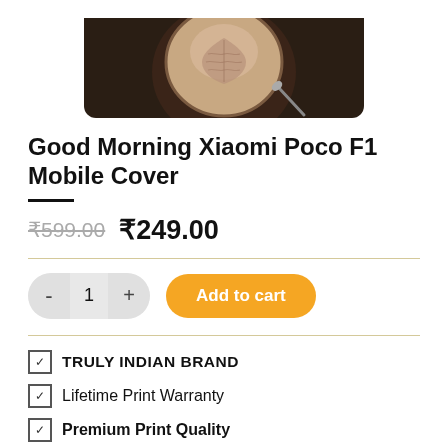[Figure (photo): Top-down view of a latte art coffee cup on a dark wooden surface, showing a heart/leaf pattern in the foam, with a spoon nearby. The image is cropped at the top.]
Good Morning Xiaomi Poco F1 Mobile Cover
₹599.00  ₹249.00
TRULY INDIAN BRAND
Lifetime Print Warranty
Premium Print Quality